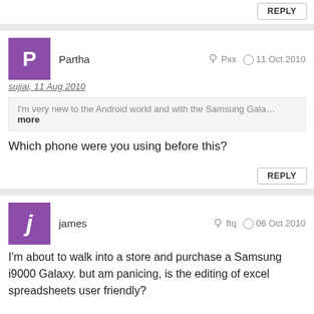REPLY
Partha  Pxx  11 Oct 2010
sujiai, 11 Aug 2010
I'm very new to the Android world and with the Samsung Gala… more
Which phone were you using before this?
REPLY
james  ftq  06 Oct 2010
I'm about to walk into a store and purchase a Samsung i9000 Galaxy. but am panicing, is the editing of excel spreadsheets user friendly?